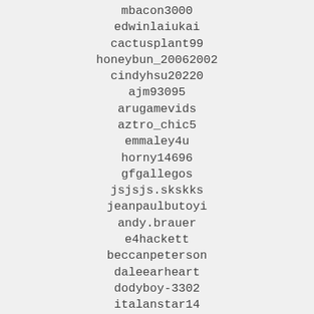mbacon3000
edwinlaiukai
cactusplant99
honeybun_20062002
cindyhsu20220
ajm93095
arugamevids
aztro_chic5
emmaley4u
horny14696
gfgallegos
jsjsjs.skskks
jeanpaulbutoyi
andy.brauer
e4hackett
beccanpeterson
daleearheart
dodyboy-3302
italanstar14
jnkglsfame
lionel.mazas
gamingtvhd1
lordazatoth
capt.ashwin.iyer
finororu